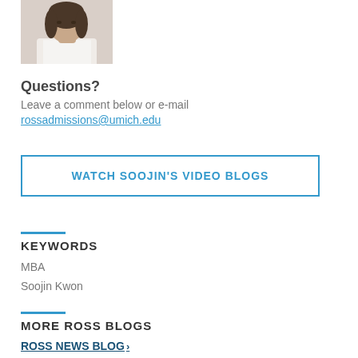[Figure (photo): Headshot photo of a woman with dark shoulder-length hair wearing a white sleeveless top]
Questions?
Leave a comment below or e-mail rossadmissions@umich.edu
WATCH SOOJIN'S VIDEO BLOGS
KEYWORDS
MBA
Soojin Kwon
MORE ROSS BLOGS
ROSS NEWS BLOG >